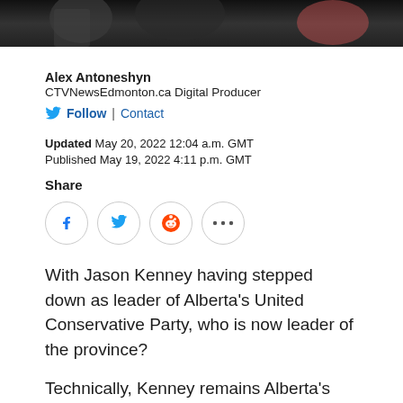[Figure (photo): Dark photo strip at top of page showing people in background]
Alex Antoneshyn
CTVNewsEdmonton.ca Digital Producer
Follow | Contact
Updated May 20, 2022 12:04 a.m. GMT
Published May 19, 2022 4:11 p.m. GMT
Share
[Figure (infographic): Social share buttons: Facebook, Twitter, Reddit, More (...)]
With Jason Kenney having stepped down as leader of Alberta's United Conservative Party, who is now leader of the province?
Technically, Kenney remains Alberta's premier.
ADVERTISEMENT